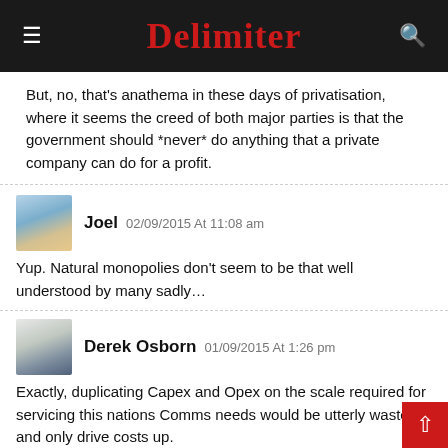Delimiter
But, no, that's anathema in these days of privatisation, where it seems the creed of both major parties is that the government should *never* do anything that a private company can do for a profit.
Joel 02/09/2015 At 11:08 am
Yup. Natural monopolies don't seem to be that well understood by many sadly…
Derek Osborn 01/09/2015 At 1:26 pm
Exactly, duplicating Capex and Opex on the scale required for servicing this nations Comms needs would be utterly wasteful and only drive costs up.